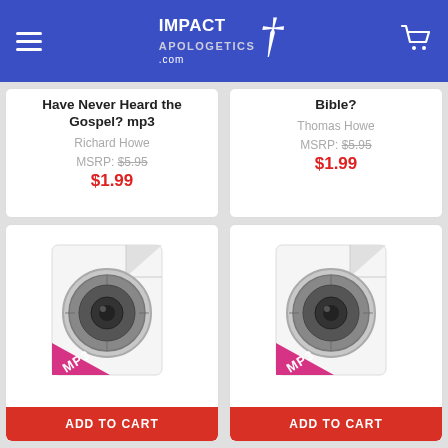Impact Apologetics .com
Have Never Heard the Gospel? mp3
Richard Howe
MSRP: $5.95
$1.99
Bible?
Thomas Howe
MSRP: $5.95
$1.99
[Figure (illustration): MP3 audio file icon with speaker graphic and pink MP3 badge]
ADD TO CART
[Figure (illustration): MP3 audio file icon with speaker graphic and pink MP3 badge]
ADD TO CART